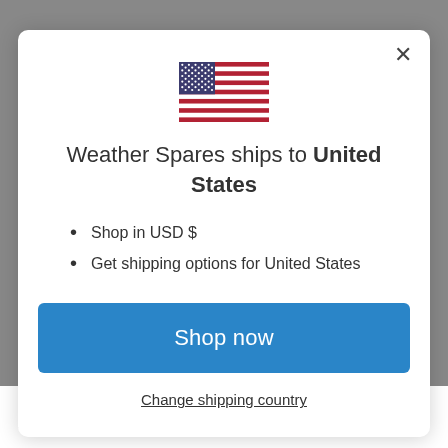[Figure (illustration): US flag emoji/icon centered at top of modal dialog]
Weather Spares ships to United States
Shop in USD $
Get shipping options for United States
Shop now
Change shipping country
cups, wind vane and rain tipping spoon from an existing YAS integrated sensor suite. These three items are NOT included. A cost of